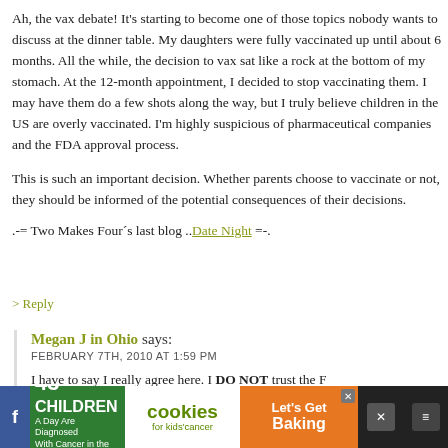Ah, the vax debate! It's starting to become one of those topics nobody wants to discuss at the dinner table. My daughters were fully vaccinated up until about 6 months. All the while, the decision to vax sat like a rock at the bottom of my stomach. At the 12-month appointment, I decided to stop vaccinating them. I may have them do a few shots along the way, but I truly believe children in the US are overly vaccinated. I'm highly suspicious of pharmaceutical companies and the FDA approval process.
This is such an important decision. Whether parents choose to vaccinate or not, they should be informed of the potential consequences of their decisions.
.-= Two Makes Four´s last blog ..Date Night =-.
> Reply
Megan J in Ohio says:
FEBRUARY 7TH, 2010 AT 1:59 PM
I have to say I really agree here. I DO NOT trust the FDA system. I DO NOT trust the pharma companies. I spa...
[Figure (other): Advertisement banner at bottom of page: green section '43 CHILDREN A Day Are Diagnosed With Cancer in the U.S.', white section with 'cookies for kids' cancer' logo, orange section 'Let's Get Baking', dark section with social media icons and close button]